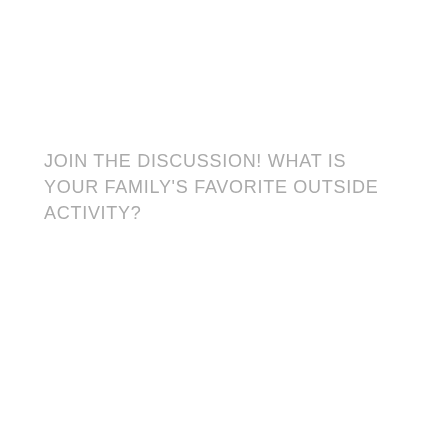JOIN THE DISCUSSION! WHAT IS YOUR FAMILY'S FAVORITE OUTSIDE ACTIVITY?